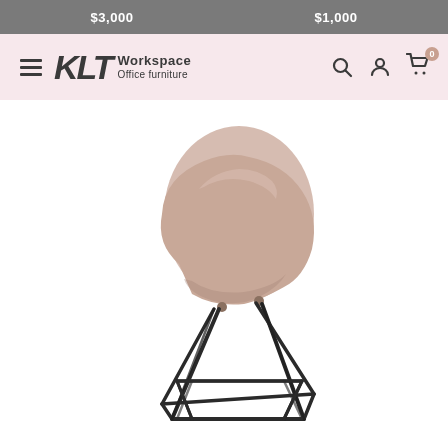$3,000   $1,000
[Figure (logo): KLT Workspace Office furniture logo with hamburger menu and navigation icons (search, account, cart with 0 badge)]
[Figure (photo): A modern side chair with a rounded blush/rose-pink shell seat and dark black metal wire geometric base legs, shown on white background]